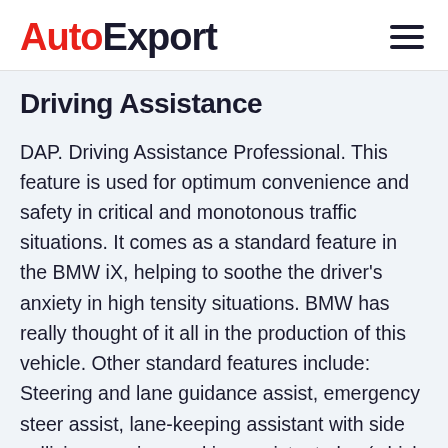AutoExport
Driving Assistance
DAP. Driving Assistance Professional. This feature is used for optimum convenience and safety in critical and monotonous traffic situations. It comes as a standard feature in the BMW iX, helping to soothe the driver's anxiety in high tensity situations. BMW has really thought of it all in the production of this vehicle. Other standard features include: Steering and lane guidance assist, emergency steer assist, lane-keeping assistant with side collision warning, parking assistant plus (which can also help with manoeuvring) and a large number of cameras to